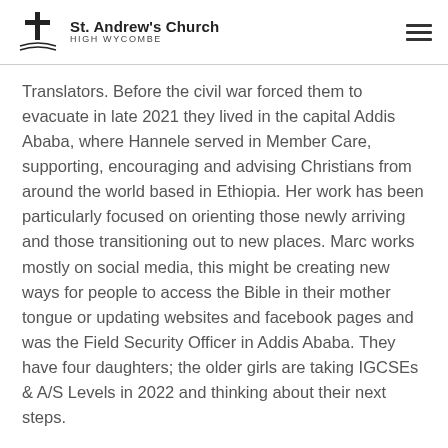St. Andrew's Church HIGH WYCOMBE
Translators. Before the civil war forced them to evacuate in late 2021 they lived in the capital Addis Ababa, where Hannele served in Member Care, supporting, encouraging and advising Christians from around the world based in Ethiopia. Her work has been particularly focused on orienting those newly arriving and those transitioning out to new places. Marc works mostly on social media, this might be creating new ways for people to access the Bible in their mother tongue or updating websites and facebook pages and was the Field Security Officer in Addis Ababa. They have four daughters; the older girls are taking IGCSEs & A/S Levels in 2022 and thinking about their next steps.